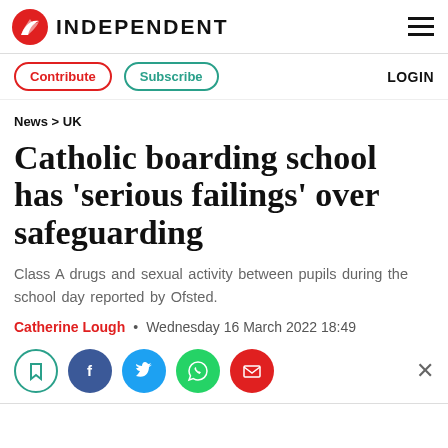INDEPENDENT
Contribute  Subscribe  LOGIN
News > UK
Catholic boarding school has 'serious failings' over safeguarding
Class A drugs and sexual activity between pupils during the school day reported by Ofsted.
Catherine Lough • Wednesday 16 March 2022 18:49